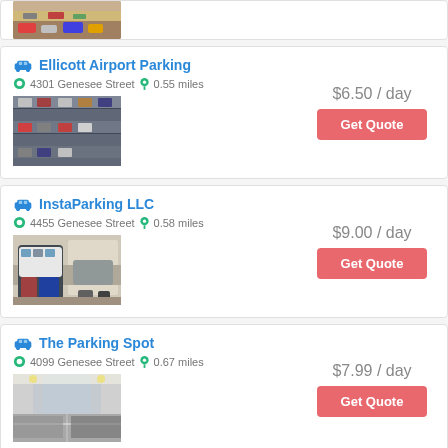[Figure (photo): Partial view of a parking lot with cars, top of page]
Ellicott Airport Parking
4301 Genesee Street  0.55 miles
[Figure (photo): Multi-level parking garage structure]
$6.50 / day
Get Quote
InstaParking LLC
4455 Genesee Street  0.58 miles
[Figure (photo): Cars parked in an outdoor parking lot]
$9.00 / day
Get Quote
The Parking Spot
4099 Genesee Street  0.67 miles
[Figure (photo): Indoor parking garage interior view]
$7.99 / day
Get Quote